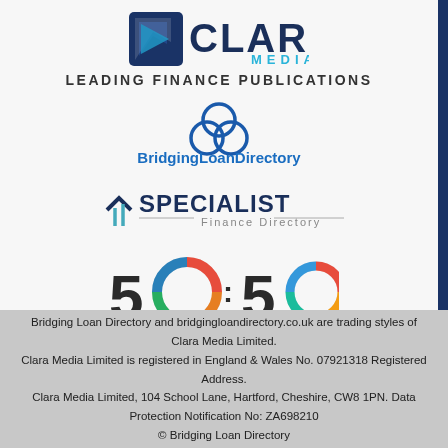[Figure (logo): Clara Media logo with dark blue square/flag icon and text CLARA MEDIA]
LEADING FINANCE PUBLICATIONS
[Figure (logo): BridgingLoanDirectory logo with overlapping circle rings icon and text BridgingLoanDirectory]
[Figure (logo): Specialist Finance Directory logo with chevron/arrow icon and text SPECIALIST Finance Directory]
[Figure (logo): 50:50 The Equality Project logo with colorful pie-chart style Os]
Bridging Loan Directory and bridgingloandirectory.co.uk are trading styles of Clara Media Limited. Clara Media Limited is registered in England & Wales No. 07921318 Registered Address. Clara Media Limited, 104 School Lane, Hartford, Cheshire, CW8 1PN. Data Protection Notification No: ZA698210 © Bridging Loan Directory